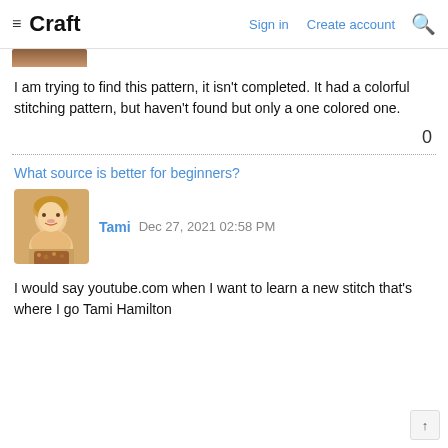≡ Craft  Sign in  Create account  🔍
[Figure (photo): Partial view of a user avatar image at the top left, cropped]
I am trying to find this pattern, it isn't completed. It had a colorful stitching pattern, but haven't found but only a one colored one.
0
What source is better for beginners?
[Figure (photo): Profile photo of Tami, a woman with short blonde hair wearing a beaded necklace]
Tami  Dec 27, 2021 02:58 PM
I would say youtube.com when I want to learn a new stitch that's where I go Tami Hamilton